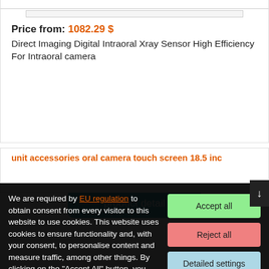Price from: 1082.29 $
Direct Imaging Digital Intraoral Xray Sensor High Efficiency For Intraoral camera
product detail
unit accessories oral camera touch screen 18.5 inc
We are required by EU regulation to obtain consent from every visitor to this website to use cookies. This website uses cookies to ensure functionality and, with your consent, to personalise content and measure traffic, among other things. By clicking on the "Accept All" button, you agree to the use of cookies and to the transfer of website behavioural data for the display of targeted advertising on social networks, advertising networks on other sites.
Accept all
Reject all
Detailed settings